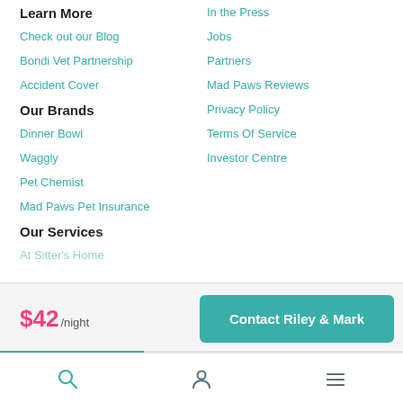Learn More
Check out our Blog
Bondi Vet Partnership
Accident Cover
Our Brands
Dinner Bowl
Waggly
Pet Chemist
Mad Paws Pet Insurance
Our Services
At Sitter's Home
In the Press
Jobs
Partners
Mad Paws Reviews
Privacy Policy
Terms Of Service
Investor Centre
Dog Walking
$42/night
Contact Riley & Mark